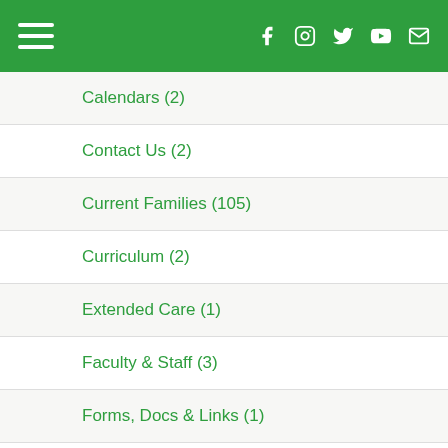Navigation header with hamburger menu and social icons (Facebook, Instagram, Twitter, YouTube, Email)
Calendars (2)
Contact Us (2)
Current Families (105)
Curriculum (2)
Extended Care (1)
Faculty & Staff (3)
Forms, Docs & Links (1)
Home (126)
Kindergarten - 8th Grade (1)